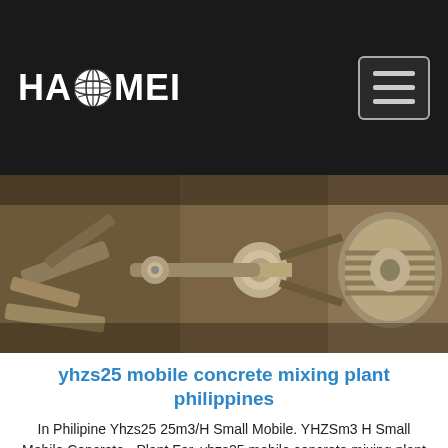[Figure (logo): HAOMEI logo with globe icon in white on dark background header, with hamburger menu button top right]
[Figure (photo): Close-up photo of industrial concrete mixing machinery parts, metal pulleys and mechanical components with rust and grease]
yhzs25 mobile concrete mixing plant philippines
In Philipine Yhzs25 25m3/H Small Mobile. YHZSm3 H Small Mobile Concrete - Plant For. yhzs25 mobile concrete mixing plant is widely used hbts80 diesel concrete pump for saleclever designed concrete batching yhzs25 mobile yhzs25 mobile concrete batching mobile automatic concrete batching plant yhzs25. 90m3 wet cement mixing plant with good quality best price hot sale in algeria best design
Get Price